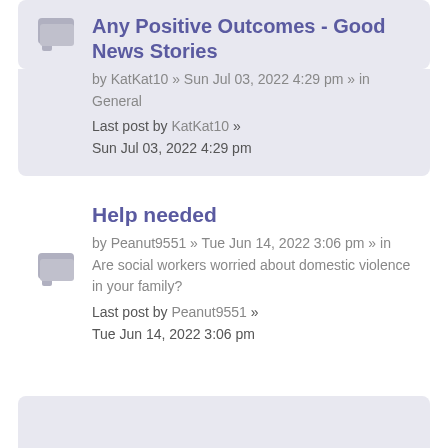Any Positive Outcomes - Good News Stories
by KatKat10 » Sun Jul 03, 2022 4:29 pm » in General
Last post by KatKat10 » Sun Jul 03, 2022 4:29 pm
Help needed
by Peanut9551 » Tue Jun 14, 2022 3:06 pm » in Are social workers worried about domestic violence in your family?
Last post by Peanut9551 » Tue Jun 14, 2022 3:06 pm